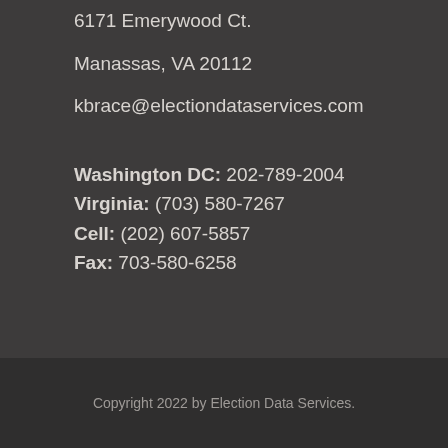6171 Emerywood Ct.
Manassas, VA 20112
kbrace@electiondataservices.com
Washington DC: 202-789-2004
Virginia: (703) 580-7267
Cell: (202) 607-5857
Fax: 703-580-6258
Copyright 2022 by Election Data Services.